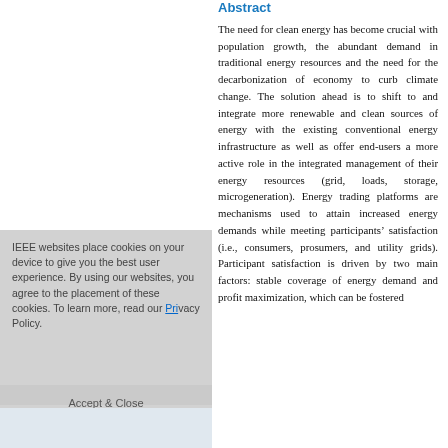Abstract
The need for clean energy has become crucial with population growth, the abundant demand in traditional energy resources and the need for the decarbonization of economy to curb climate change. The solution ahead is to shift to and integrate more renewable and clean sources of energy with the existing conventional energy infrastructure as well as offer end-users a more active role in the integrated management of their energy resources (grid, loads, storage, microgeneration). Energy trading platforms are mechanisms used to attain increased energy demands while meeting participants' satisfaction (i.e., consumers, prosumers, and utility grids). Participant satisfaction is driven by two main factors: stable coverage of energy demand and profit maximization, which can be fostered
IEEE websites place cookies on your device to give you the best user experience. By using our websites, you agree to the placement of these cookies. To learn more, read our Privacy Policy.
Accept & Close